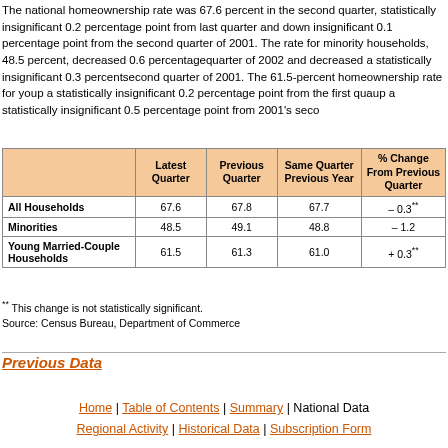The national homeownership rate was 67.6 percent in the second quarter, statistically insignificant 0.2 percentage point from last quarter and down an insignificant 0.1 percentage point from the second quarter of 2001. The homeownership rate for minority households, 48.5 percent, decreased 0.6 percentage points from the first quarter of 2002 and decreased a statistically insignificant 0.3 percentage point from the second quarter of 2001. The 61.5-percent homeownership rate for young married-couple was up a statistically insignificant 0.2 percentage point from the first quarter of 2002 and up a statistically insignificant 0.5 percentage point from 2001's second quarter.
|  | Latest Quarter | Previous Quarter | Same Quarter Previous Year | % Change From Previous Quarter |
| --- | --- | --- | --- | --- |
| All Households | 67.6 | 67.8 | 67.7 | – 0.3** |
| Minorities | 48.5 | 49.1 | 48.8 | – 1.2 |
| Young Married-Couple Households | 61.5 | 61.3 | 61.0 | + 0.3** |
** This change is not statistically significant.
Source: Census Bureau, Department of Commerce
Previous Data
Home | Table of Contents | Summary | National Data Regional Activity | Historical Data | Subscription Form